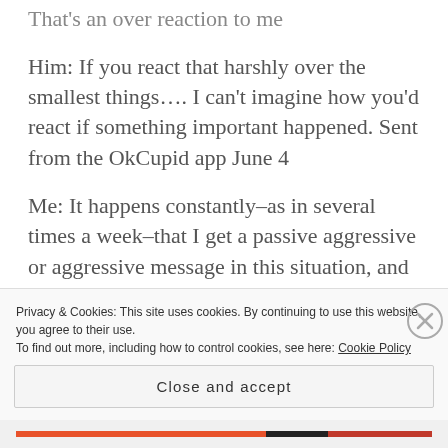That's an over reaction to me
Him: If you react that harshly over the smallest things…. I can't imagine how you'd react if something important happened. Sent from the OkCupid app June 4
Me: It happens constantly–as in several times a week–that I get a passive aggressive or aggressive message in this situation, and it shows a level of self absorption I'm not interested in. Sent from the OkCupid app June 4
Privacy & Cookies: This site uses cookies. By continuing to use this website, you agree to their use. To find out more, including how to control cookies, see here: Cookie Policy
Close and accept